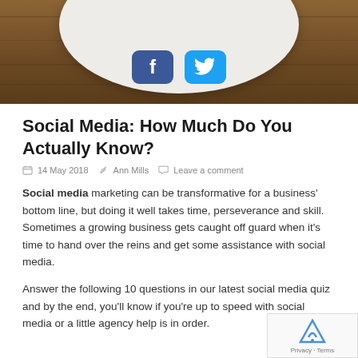[Figure (photo): Partial photo of a white plate on a wooden table surface, with social media app icons (Facebook, Twitter) visible on the plate.]
Social Media: How Much Do You Actually Know?
14 May 2018  Ann Mills  Leave a comment
Social media marketing can be transformative for a business' bottom line, but doing it well takes time, perseverance and skill. Sometimes a growing business gets caught off guard when it's time to hand over the reins and get some assistance with social media.
Answer the following 10 questions in our latest social media quiz and by the end, you'll know if you're up to speed with social media or a little agency help is in order.